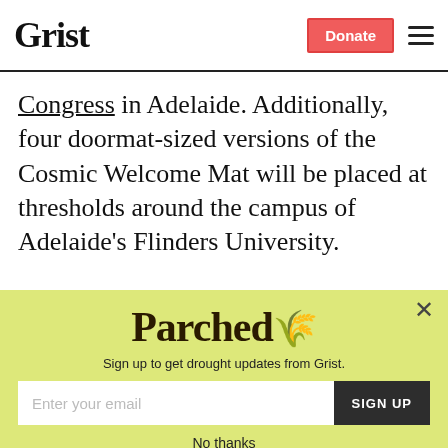Grist | Donate
Congress in Adelaide. Additionally, four doormat-sized versions of the Cosmic Welcome Mat will be placed at thresholds around the campus of Adelaide's Flinders University.
So, how do you make the "welcome"
[Figure (screenshot): Parchea newsletter signup popup modal with yellow-green background. Contains the title 'Parchea', subtitle 'Sign up to get drought updates from Grist.', an email input field, a 'SIGN UP' button, and a 'No thanks' link. A close (X) button is in the top-right corner.]